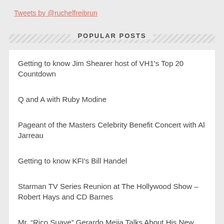Tweets by @ruchelfreibrun
POPULAR POSTS
Getting to know Jim Shearer host of VH1's Top 20 Countdown
Q and A with Ruby Modine
Pageant of the Masters Celebrity Benefit Concert with Al Jarreau
Getting to know KFI's Bill Handel
Starman TV Series Reunion at The Hollywood Show – Robert Hays and CD Barnes
Mr. “Rico Suave” Gerardo Mejia Talks About His New Reality Show on VH1